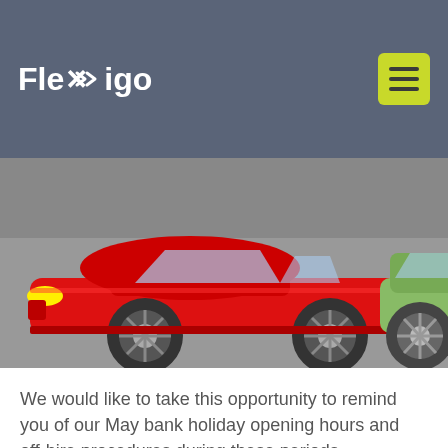FlexCigo
[Figure (illustration): Car accident illustration showing a red sports car colliding with a green car on a grey road]
We would like to take this opportunity to remind you of our May bank holiday opening hours and off-hire procedures during these periods.